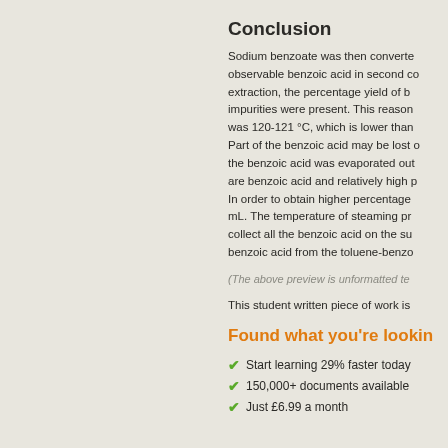Conclusion
Sodium benzoate was then converted observable benzoic acid in second co extraction, the percentage yield of b impurities were present. This reason was 120-121 °C, which is lower than Part of the benzoic acid may be lost the benzoic acid was evaporated out are benzoic acid and relatively high p In order to obtain higher percentage mL. The temperature of steaming pr collect all the benzoic acid on the su benzoic acid from the toluene-benzo
(The above preview is unformatted te
This student written piece of work is
Found what you're lookin
Start learning 29% faster today
150,000+ documents available
Just £6.99 a month